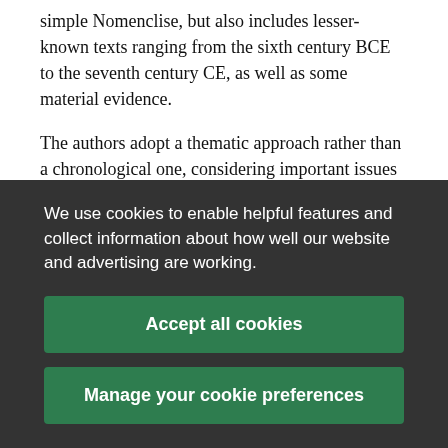simple Nomenclise, but also includes lesser-known texts ranging from the sixth century BCE to the seventh century CE, as well as some material evidence.
The authors adopt a thematic approach rather than a chronological one, considering important issues such as the definition of a plant, nomenclature, classifications, physiology, the link between plants and their environments, and the management of plants in the
We use cookies to enable helpful features and collect information about how well our website and advertising are working.
Accept all cookies
Manage your cookie preferences